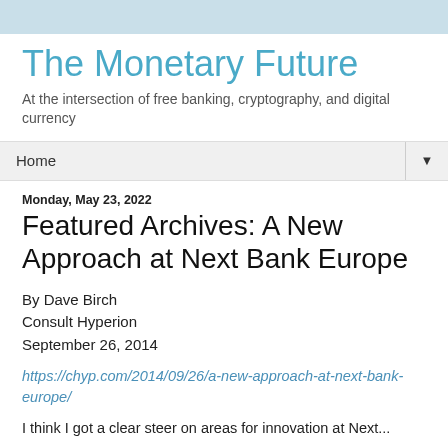The Monetary Future
At the intersection of free banking, cryptography, and digital currency
Home
Monday, May 23, 2022
Featured Archives: A New Approach at Next Bank Europe
By Dave Birch
Consult Hyperion
September 26, 2014
https://chyp.com/2014/09/26/a-new-approach-at-next-bank-europe/
I think I got a clear steer on areas for innovation at Next...